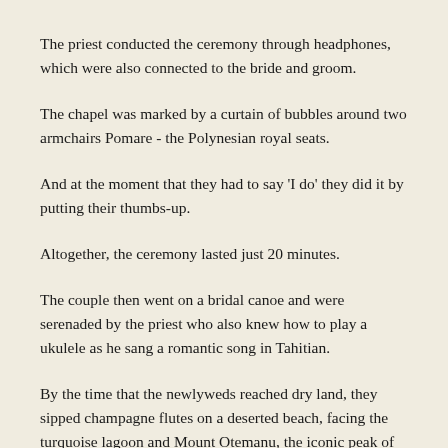The priest conducted the ceremony through headphones, which were also connected to the bride and groom.
The chapel was marked by a curtain of bubbles around two armchairs Pomare - the Polynesian royal seats.
And at the moment that they had to say 'I do' they did it by putting their thumbs-up.
Altogether, the ceremony lasted just 20 minutes.
The couple then went on a bridal canoe and were serenaded by the priest who also knew how to play a ukulele as he sang a romantic song in Tahitian.
By the time that the newlyweds reached dry land, they sipped champagne flutes on a deserted beach, facing the turquoise lagoon and Mount Otemanu, the iconic peak of Bora Bora.